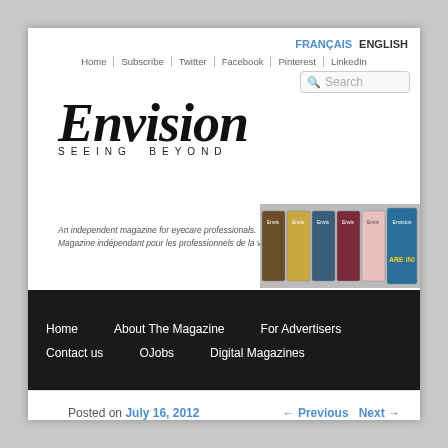FRANÇAIS  ENGLISH
Home | Subscribe | Twitter | Facebook | Pinterest | LinkedIn
[Figure (logo): Envision magazine logo with cursive 'Envision' text and subtitle 'SEEING BEYOND']
[Figure (photo): Search box with magnifying glass icon]
An independent magazine for eyecare professionals.
Magazine indépendant pour les professionnels de la vue.
[Figure (photo): Strip of Envision magazine cover images]
Home   About The Magazine   For Advertisers   Contact us   OJobs   Digital Magazines
Posted on July 16, 2012
← Previous   Next →